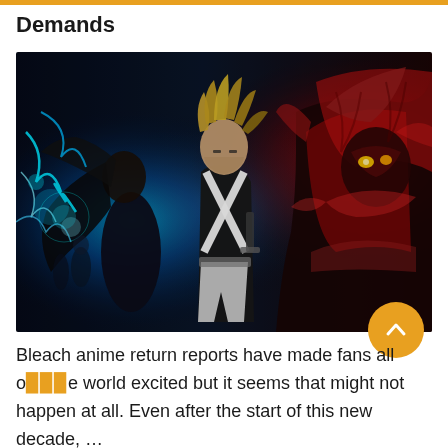Demands
[Figure (illustration): Bleach anime artwork showing characters including a central figure in black outfit with X-shaped white strap, blue energy effects on the left side, and red/dark demonic figure on the right side.]
Bleach anime return reports have made fans all over the world excited but it seems that might not happen at all. Even after the start of this new decade, …